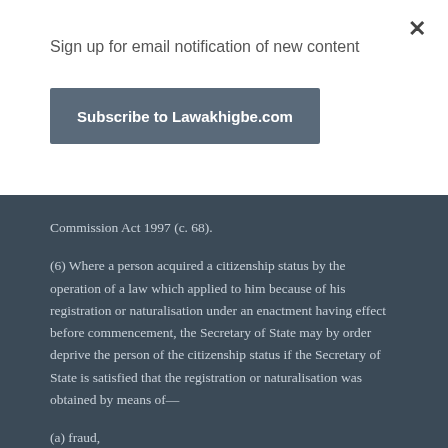Sign up for email notification of new content
Subscribe to Lawakhigbe.com
Commission Act 1997 (c. 68).
(6) Where a person acquired a citizenship status by the operation of a law which applied to him because of his registration or naturalisation under an enactment having effect before commencement, the Secretary of State may by order deprive the person of the citizenship status if the Secretary of State is satisfied that the registration or naturalisation was obtained by means of—
(a) fraud,